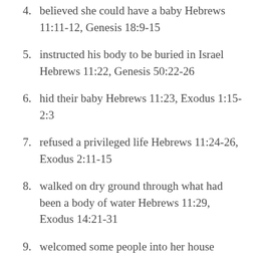believed she could have a baby Hebrews 11:11-12, Genesis 18:9-15
instructed his body to be buried in Israel Hebrews 11:22, Genesis 50:22-26
hid their baby Hebrews 11:23, Exodus 1:15-2:3
refused a privileged life Hebrews 11:24-26, Exodus 2:11-15
walked on dry ground through what had been a body of water Hebrews 11:29, Exodus 14:21-31
welcomed some people into her house